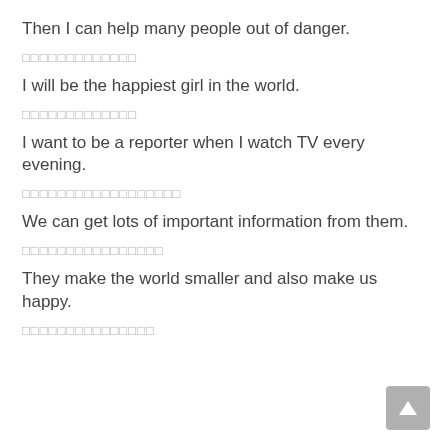Then I can help many people out of danger.
□□□□□□□□□□□□□
I will be the happiest girl in the world.
□□□□□□□□□□□□□
I want to be a reporter when I watch TV every evening.
□□□□□□□□□□□□□□□□□□
We can get lots of important information from them.
□□□□□□□□□□□□□□□□
They make the world smaller and also make us happy.
□□□□□□□□□□□□□□□